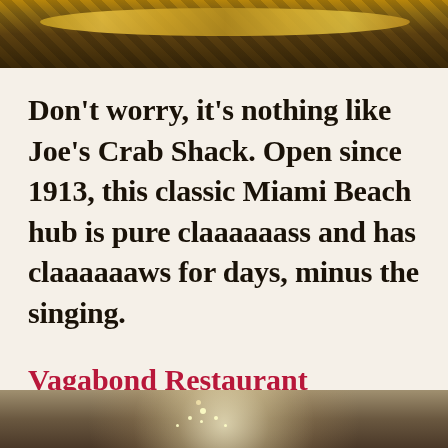[Figure (photo): Top portion of a photo showing a decorative plate or dish with gold rim on a dark patterned background, partially cropped]
Don’t worry, it’s nothing like Joe’s Crab Shack. Open since 1913, this classic Miami Beach hub is pure claaaaaass and has claaaaaaws for days, minus the singing.
Vagabond Restaurant
[Figure (photo): Bottom portion of a photo showing interior of Vagabond Restaurant with chandelier lighting, partially cropped]